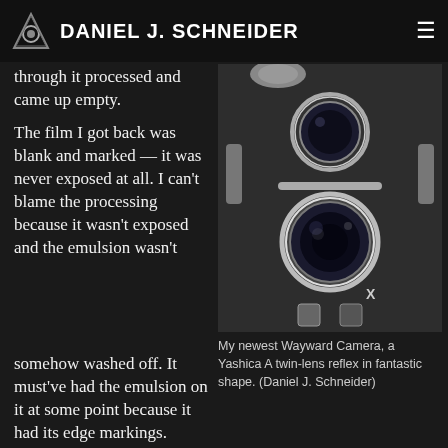DANIEL J. SCHNEIDER
through it processed and came up empty.
The film I got back was blank and marked — it was never exposed at all. I can't blame the processing because it wasn't exposed and the emulsion wasn't somehow washed off. It must've had the emulsion on it at some point because it had its edge markings.
[Figure (photo): Close-up photograph of a Yashica A twin-lens reflex camera, showing the taking and viewing lenses, shutter mechanism, and camera body detail against a light background.]
My newest Wayward Camera, a Yashica A twin-lens reflex in fantastic shape. (Daniel J. Schneider)
I checked out the camera again and made sure everything